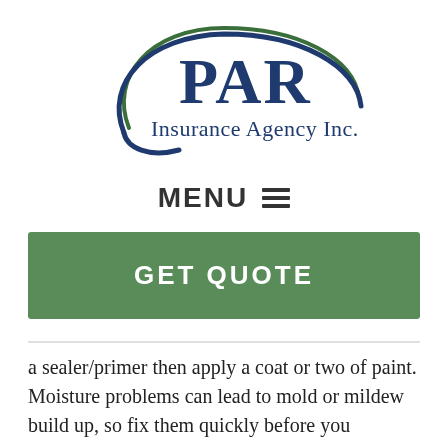[Figure (logo): PAR Insurance Agency Inc. logo with dark blue oval arc and text]
MENU ☰
GET QUOTE
a sealer/primer then apply a coat or two of paint. Moisture problems can lead to mold or mildew build up, so fix them quickly before you